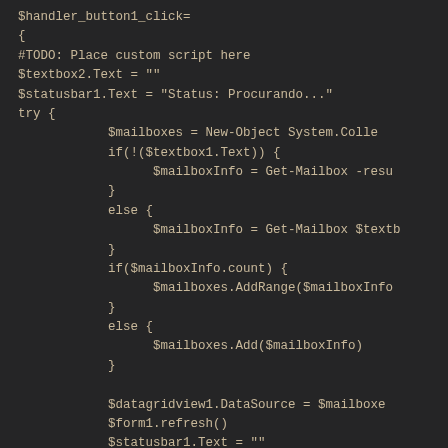[Figure (screenshot): A dark-themed code editor screenshot showing PowerShell code. The code includes a handler_button1_click function body with #TODO comment, variable assignments for $textbox2.Text and $statusbar1.Text, a try block containing mailbox-related logic using $mailboxes, $mailboxInfo, conditional checks, AddRange and Add calls, and finally $datagridview1.DataSource assignment, $form1.refresh(), $statusbar1.Text reset, and a closing brace.]